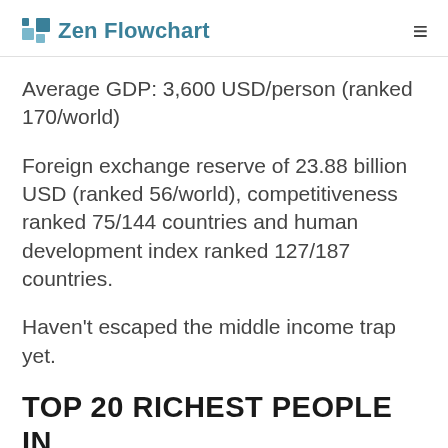Zen Flowchart
Average GDP: 3,600 USD/person (ranked 170/world)
Foreign exchange reserve of 23.88 billion USD (ranked 56/world), competitiveness ranked 75/144 countries and human development index ranked 127/187 countries.
Haven't escaped the middle income trap yet.
TOP 20 RICHEST PEOPLE IN